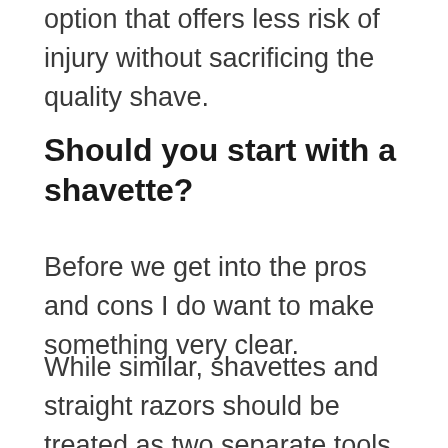option that offers less risk of injury without sacrificing the quality shave.
Should you start with a shavette?
Before we get into the pros and cons I do want to make something very clear.
While similar, shavettes and straight razors should be treated as two separate tools and they will require a slightly different technique to master. Further, I personally think that shavettes